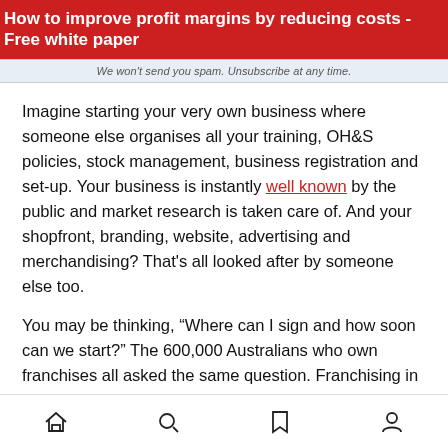How to improve profit margins by reducing costs - Free white paper
We won't send you spam. Unsubscribe at any time.
Imagine starting your very own business where someone else organises all your training, OH&S policies, stock management, business registration and set-up. Your business is instantly well known by the public and market research is taken care of. And your shopfront, branding, website, advertising and merchandising? That's all looked after by someone else too.
You may be thinking, “Where can I sign and how soon can we start?” The 600,000 Australians who own franchises all asked the same question. Franchising in